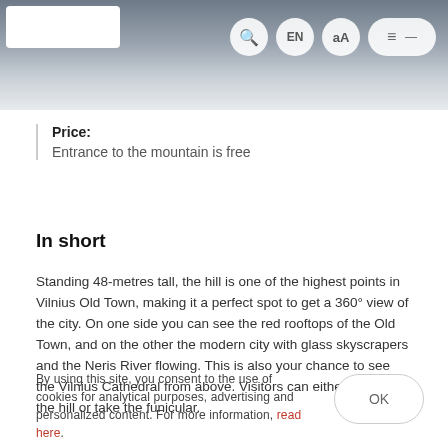EN aA [menu]
Price:
Entrance to the mountain is free
In short
Standing 48-metres tall, the hill is one of the highest points in Vilnius Old Town, making it a perfect spot to get a 360° view of the city. On one side you can see the red rooftops of the Old Town, and on the other the modern city with glass skyscrapers and the Neris River flowing. This is also your chance to see the Vilnius Cathedral from above. Visitors can either walk up the hill or take the funicular.
By using this site, you consent to the use of cookies for analytical purposes, advertising and personalized content. For more information, read here.